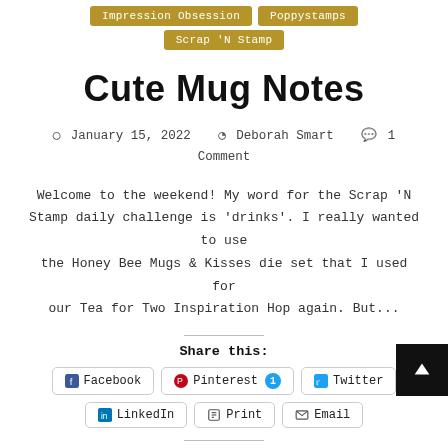Impression Obsession  Poppystamps  Scrap 'N Stamp
Cute Mug Notes
January 15, 2022  Deborah Smart  1 Comment
Welcome to the weekend! My word for the Scrap 'N Stamp daily challenge is 'drinks'. I really wanted to use the Honey Bee Mugs & Kisses die set that I used for our Tea for Two Inspiration Hop again. But...
Share this:
Facebook  Pinterest 1  Twitter  LinkedIn  Print  Email
Like this: